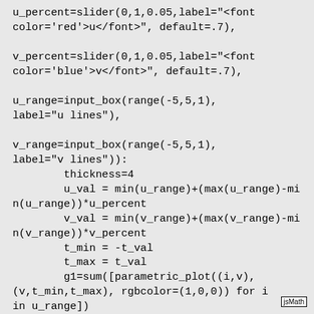u_percent=slider(0,1,0.05,label="<font color='red'>u</font>", default=.7),

v_percent=slider(0,1,0.05,label="<font color='blue'>v</font>", default=.7),

u_range=input_box(range(-5,5,1),
label="u lines"),

v_range=input_box(range(-5,5,1),
label="v lines")):
        thickness=4
        u_val = min(u_range)+(max(u_range)-min(u_range))*u_percent
        v_val = min(v_range)+(max(v_range)-min(v_range))*v_percent
        t_min = -t_val
        t_max = t_val
        g1=sum([parametric_plot((i,v),(v,t_min,t_max), rgbcolor=(1,0,0)) for i in u_range])
        g2=sum([parametric_plot((u,i),(u,t_min,t_max), rgbcolor=(0,0,1)) for i in v_range])